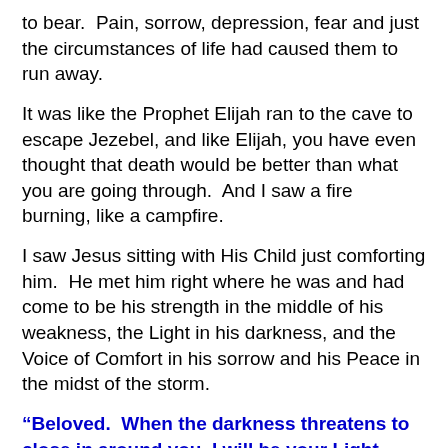to bear.  Pain, sorrow, depression, fear and just the circumstances of life had caused them to run away.
It was like the Prophet Elijah ran to the cave to escape Jezebel, and like Elijah, you have even thought that death would be better than what you are going through.  And I saw a fire burning, like a campfire.
I saw Jesus sitting with His Child just comforting him.  He met him right where he was and had come to be his strength in the middle of his weakness, the Light in his darkness, and the Voice of Comfort in his sorrow and his Peace in the midst of the storm.
“Beloved.  When the darkness threatens to close in around you, I will be your Light.  When your song fades, I will sing over you.
When words fail you, I will be The Word ever working.  When pain comes to steal your breath, I will be the